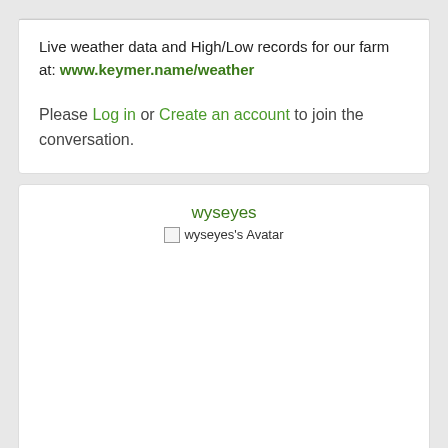Live weather data and High/Low records for our farm at: www.keymer.name/weather
Please Log in or Create an account to join the conversation.
wyseyes
[Figure (illustration): wyseyes's Avatar placeholder image icon]
Offline
More